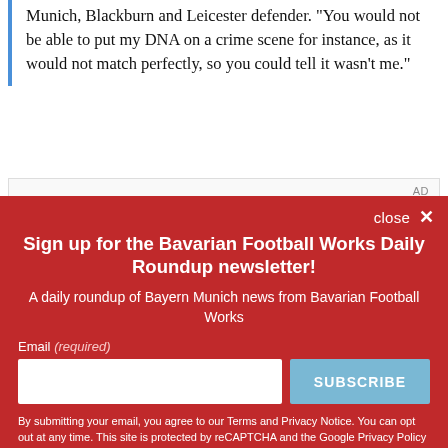Munich, Blackburn and Leicester defender. "You would not be able to put my DNA on a crime scene for instance, as it would not match perfectly, so you could tell it wasn't me."
AD
Sign up for the Bavarian Football Works Daily Roundup newsletter!
A daily roundup of Bayern Munich news from Bavarian Football Works
Email (required)
SUBSCRIBE
By submitting your email, you agree to our Terms and Privacy Notice. You can opt out at any time. This site is protected by reCAPTCHA and the Google Privacy Policy and Terms of Service apply.